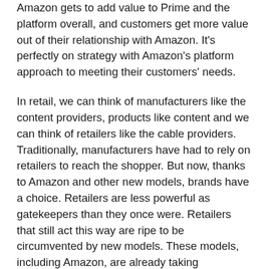Amazon gets to add value to Prime and the platform overall, and customers get more value out of their relationship with Amazon. It's perfectly on strategy with Amazon's platform approach to meeting their customers' needs.
In retail, we can think of manufacturers like the content providers, products like content and we can think of retailers like the cable providers. Traditionally, manufacturers have had to rely on retailers to reach the shopper. But now, thanks to Amazon and other new models, brands have a choice. Retailers are less powerful as gatekeepers than they once were. Retailers that still act this way are ripe to be circumvented by new models. These models, including Amazon, are already taking meaningful share. This is no longer a metaphor.
Nielsen says that 20% of the grocery channel and 40% of center store will move